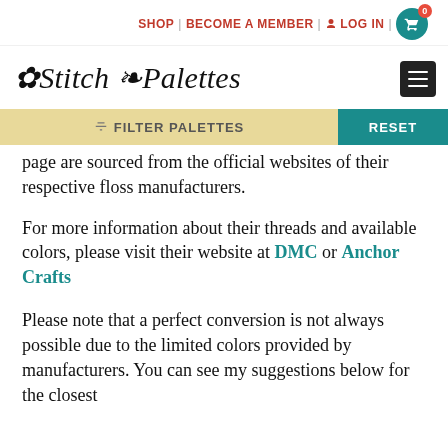SHOP | BECOME A MEMBER | LOG IN | 0
[Figure (logo): Stitch Palettes logo with decorative script text and floral embellishment]
FILTER PALETTES   RESET
page are sourced from the official websites of their respective floss manufacturers.
For more information about their threads and available colors, please visit their website at DMC or Anchor Crafts
Please note that a perfect conversion is not always possible due to the limited colors provided by manufacturers. You can see my suggestions below for the closest